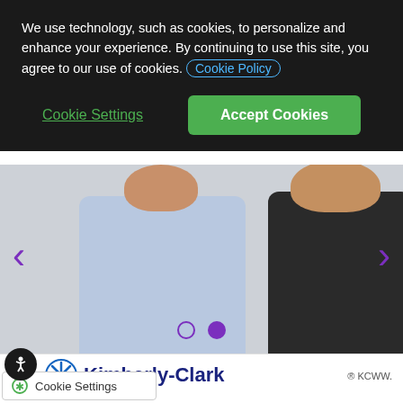We use technology, such as cookies, to personalize and enhance your experience. By continuing to use this site, you agree to our use of cookies. Cookie Policy
Cookie Settings
Accept Cookies
[Figure (photo): Two smiling professionals, a man in a light blue shirt and a woman in a dark blazer, posing together against a grey background.]
® KCWW.
[Figure (logo): Kimberly-Clark logo with blue asterisk/snowflake symbol and blue bold text reading Kimberly-Clark]
Cookie Settings